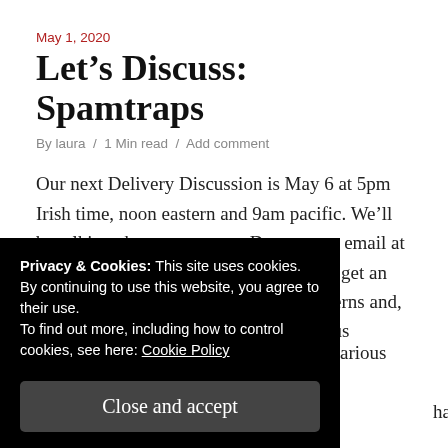May 1, 2020
Let's Discuss: Spamtraps
By laura  /  1 Min read  /  Add comment
Our next Delivery Discussion is May 6 at 5pm Irish time, noon eastern and 9am pacific. We'll be talking about spamtraps. Drop me an email at laura-ddiscuss@ the obvious domain to get an invite. Bring your questions, your concerns and, yes, even your gripes to talk with various … that we know, … out
Privacy & Cookies: This site uses cookies. By continuing to use this website, you agree to their use.
To find out more, including how to control cookies, see here: Cookie Policy
Close and accept